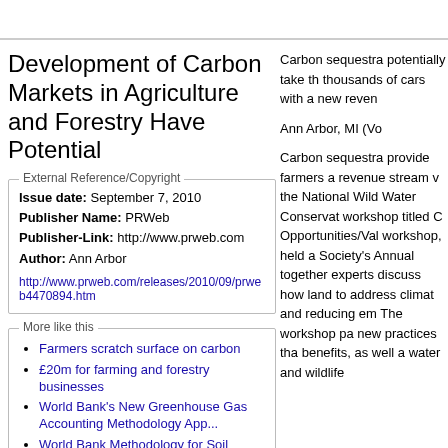Development of Carbon Markets in Agriculture and Forestry Have Potential
External Reference/Copyright
Issue date: September 7, 2010
Publisher Name: PRWeb
Publisher-Link: http://www.prweb.com
Author: Ann Arbor
http://www.prweb.com/releases/2010/09/prweb4470894.htm
More like this
Farmers scratch surface on carbon
£20m for farming and forestry businesses
World Bank's New Greenhouse Gas Accounting Methodology App...
World Bank Methodology for Soil Carbon Sequestration Appro...
Climate finance that makes sense to
Carbon sequestra potentially take th thousands of cars with a new reven

Ann Arbor, MI (Vo

Carbon sequestra provide farmers a revenue stream v the National Wild Water Conservat workshop titled C Opportunities/Val workshop, held a Society's Annual together experts discuss how land to address climat and reducing em The workshop pa new practices tha benefits, as well a water and wildlife